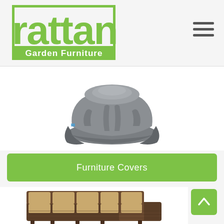[Figure (logo): Rattan Garden Furniture logo with green rattan text and green rectangle border with white 'Garden Furniture' text inside]
[Figure (other): Hamburger menu icon - three horizontal dark grey lines]
[Figure (photo): Grey furniture cover draped over a round/oval table and chairs set, photographed on white background]
Furniture Covers
[Figure (photo): L-shaped rattan corner sofa set with beige/tan cushions, partially visible at bottom of page]
[Figure (other): Green scroll-to-top button with white upward chevron arrow]